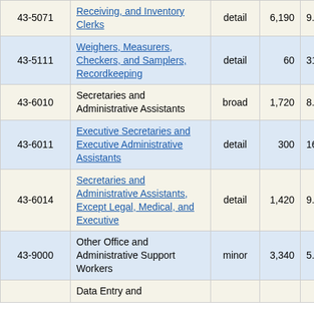| Code | Occupation | Level | Employment | Pct% |
| --- | --- | --- | --- | --- |
| 43-5071 | Receiving, and Inventory Clerks | detail | 6,190 | 9.0% |
| 43-5111 | Weighers, Measurers, Checkers, and Samplers, Recordkeeping | detail | 60 | 31.8% |
| 43-6010 | Secretaries and Administrative Assistants | broad | 1,720 | 8.6% |
| 43-6011 | Executive Secretaries and Executive Administrative Assistants | detail | 300 | 16.9% |
| 43-6014 | Secretaries and Administrative Assistants, Except Legal, Medical, and Executive | detail | 1,420 | 9.5% |
| 43-9000 | Other Office and Administrative Support Workers | minor | 3,340 | 5.6% |
|  | Data Entry and |  |  |  |